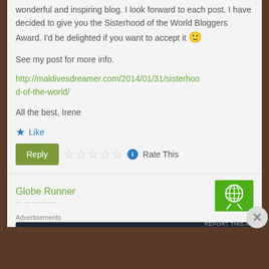wonderful and inspiring blog. I look forward to each post. I have decided to give you the Sisterhood of the World Bloggers Award. I'd be delighted if you want to accept it 🙂
See my post for more info.
http://maldivesdreamer.com/2014/01/31/sisterhood-of-the-world/
All the best, Irene
★ Like
Reply  ☆☆☆☆☆  ℹ  Rate This
Globe Runner
Advertisements
[Figure (infographic): WordPress advertisement banner reading 'Opinions. We all have them!' with WordPress and Daily News logos on dark navy background]